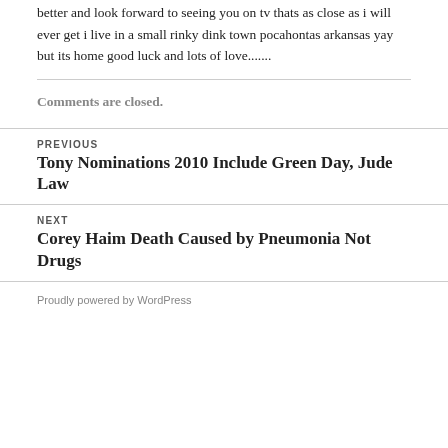better and look forward to seeing you on tv thats as close as i will ever get i live in a small rinky dink town pocahontas arkansas yay but its home good luck and lots of love.......
Comments are closed.
PREVIOUS
Tony Nominations 2010 Include Green Day, Jude Law
NEXT
Corey Haim Death Caused by Pneumonia Not Drugs
Proudly powered by WordPress